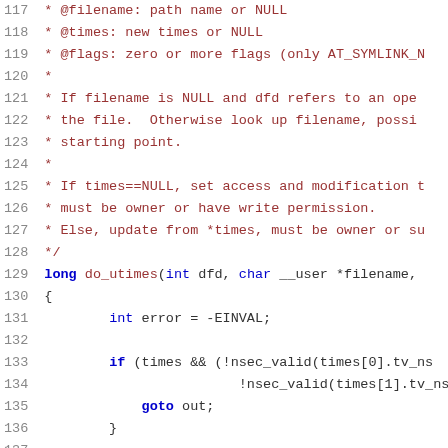Code listing, lines 117-137, showing do_utimes function definition with comments and initial implementation including error variable and nsec_valid checks.